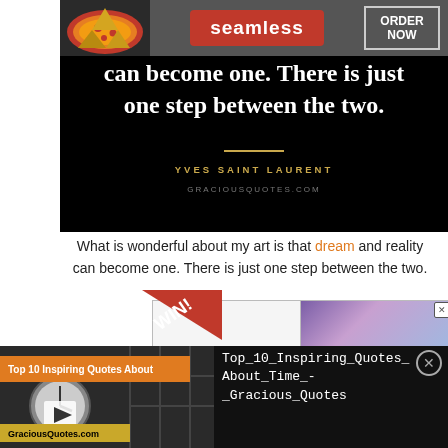[Figure (screenshot): Advertisement banner for Seamless food delivery with pizza image, Seamless red button, and ORDER NOW bordered text]
[Figure (screenshot): Quote image on black background: 'can become one. There is just one step between the two.' with gold divider, 'YVES SAINT LAURENT' attribution, and GRACIOUSQUOTES.COM watermark]
What is wonderful about my art is that dream and reality can become one. There is just one step between the two.
[Figure (screenshot): Advertisement banner with win ribbon and purple/pink gradient on right]
[Figure (screenshot): Video player thumbnail showing Top 10 Inspiring Quotes About Time by GraciousQuotes.com with play button, with filename Top_10_Inspiring_Quotes_About_Time_-_Gracious_Quotes displayed on dark panel]